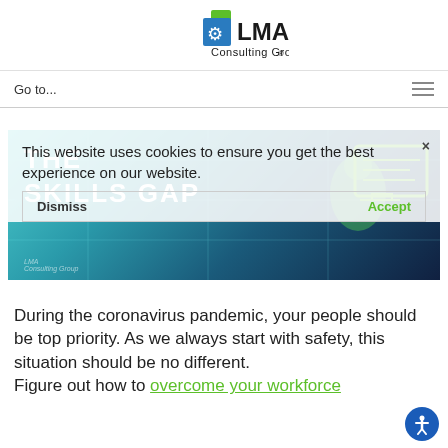[Figure (logo): LMA Consulting Group logo with green and blue geometric shapes and text 'LMA Consulting Group']
Go to...
[Figure (illustration): Hero banner with teal/blue tech background, bold white text 'THE SKILLS GAP', green monitor icon illustration, and LMA Consulting Group watermark]
This website uses cookies to ensure you get the best experience on our website.
During the coronavirus pandemic, your people should be top priority. As we always start with safety, this situation should be no different. Figure out how to
Dismiss
Accept